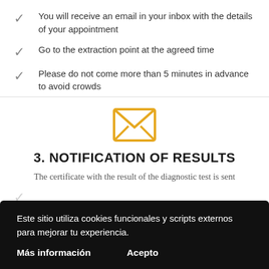You will receive an email in your inbox with the details of your appointment
Go to the extraction point at the agreed time
Please do not come more than 5 minutes in advance to avoid crowds
[Figure (illustration): Orange envelope icon indicating email notification]
3. NOTIFICATION OF RESULTS
The certificate with the result of the diagnostic test is sent
Este sitio utiliza cookies funcionales y scripts externos para mejorar tu experiencia.
Más información   Acepto